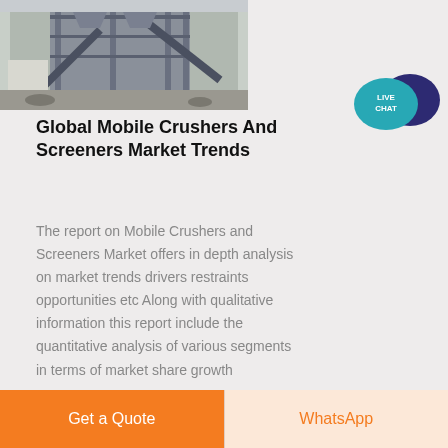[Figure (photo): Industrial mobile crusher/screener facility with steel structures, conveyors, and industrial equipment outdoors]
[Figure (illustration): Live Chat speech bubble icon in teal and dark navy blue]
Global Mobile Crushers And Screeners Market Trends
The report on Mobile Crushers and Screeners Market offers in depth analysis on market trends drivers restraints opportunities etc Along with qualitative information this report include the quantitative analysis of various segments in terms of market share growth
Get a Quote
WhatsApp